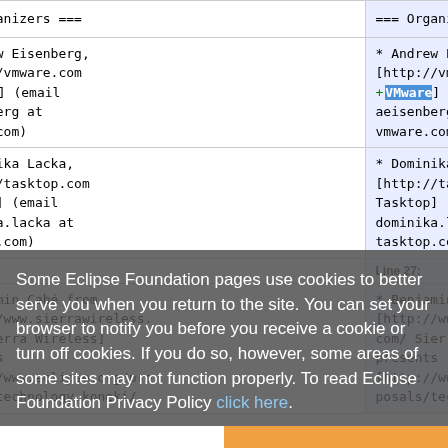| Left (removed) | Right (added) |
| --- | --- |
| === Organizers === | === Organizers === |
| * Andrew Eisenberg, [http://vmware.com −VMWare] (email aeisenberg at vmware.com) | * Andrew Eisenberg, [http://vmware.com +VMware] (email aeisenberg at vmware.com) |
| * Dominika Lacka, [http://tasktop.com Tasktop] (email dominika.lacka at tasktop.com) | * Dominika Lacka, [http://tasktop.com Tasktop] (email dominika.lacka at tasktop.com) |
| Line 27: | Line 27: |
| * Benjamin Cabé from [http://www.sierrawireless.com/ Sierra Wireless] presents [http://www.eclipse.org/proposals/technology.koneki/ | * Benjamin Cabé from [http://www.sierrawireless.com/ Sierra Wireless] presents [http://www.eclipse.org/proposals/technology.koneki/ |
Some Eclipse Foundation pages use cookies to better serve you when you return to the site. You can set your browser to notify you before you receive a cookie or turn off cookies. If you do so, however, some areas of some sites may not function properly. To read Eclipse Foundation Privacy Policy click here.
Decline | Allow cookies